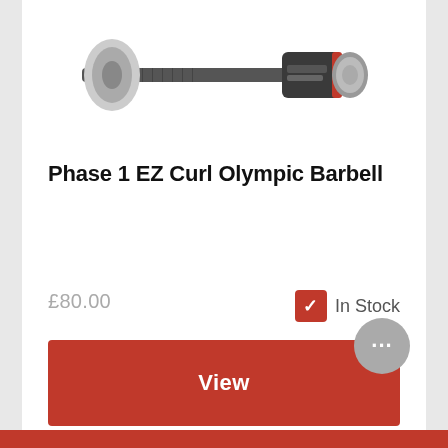[Figure (photo): Partial view of a Phase 1 EZ Curl Olympic Barbell, showing the end of the barbell with red and silver collar/weight plate area, against a white background.]
Phase 1 EZ Curl Olympic Barbell
£80.00
✓ In Stock
View